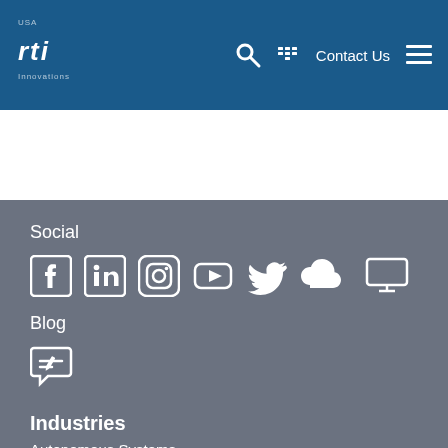rti | Contact Us
[Figure (screenshot): White blank content area below navigation header]
Social
[Figure (other): Social media icons: Facebook, LinkedIn, Instagram, YouTube, Twitter, SoundCloud, TV/Monitor]
Blog
[Figure (other): Blog icon: speech bubble with pencil]
Industries
Autonomous Systems